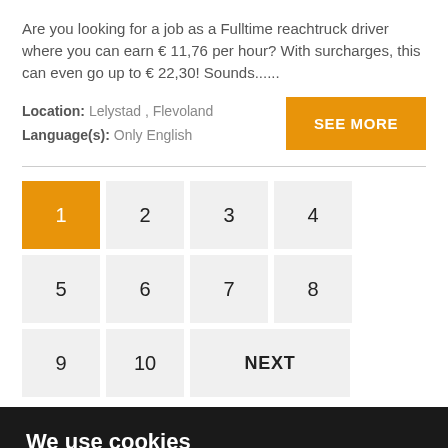Are you looking for a job as a Fulltime reachtruck driver where you can earn € 11,76 per hour? With surcharges, this can even go up to € 22,30! Sounds......
Location: Lelystad , Flevoland
Language(s): Only English
SEE MORE
1
2
3
4
5
6
7
8
9
10
NEXT
We use cookies
We use cookies and other tracking technologies to improve your browsing experience on our website, to show you personalized content and targeted ads, to analyze our website traffic, and to